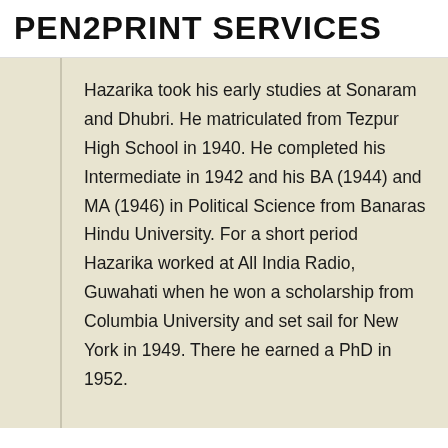PEN2PRINT SERVICES
Hazarika took his early studies at Sonaram and Dhubri. He matriculated from Tezpur High School in 1940. He completed his Intermediate in 1942 and his BA (1944) and MA (1946) in Political Science from Banaras Hindu University. For a short period Hazarika worked at All India Radio, Guwahati when he won a scholarship from Columbia University and set sail for New York in 1949. There he earned a PhD in 1952.